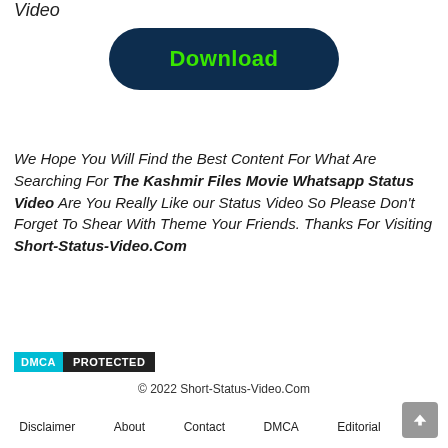Video
[Figure (other): Download button with dark navy rounded rectangle background and bright green bold text reading 'Download']
We Hope You Will Find the Best Content For What Are Searching For The Kashmir Files Movie Whatsapp Status Video Are You Really Like our Status Video So Please Don't Forget To Shear With Theme Your Friends. Thanks For Visiting Short-Status-Video.Com
[Figure (other): DMCA Protected badge with cyan DMCA label and dark PROTECTED label]
© 2022 Short-Status-Video.Com
Disclaimer   About   Contact   DMCA   Editorial